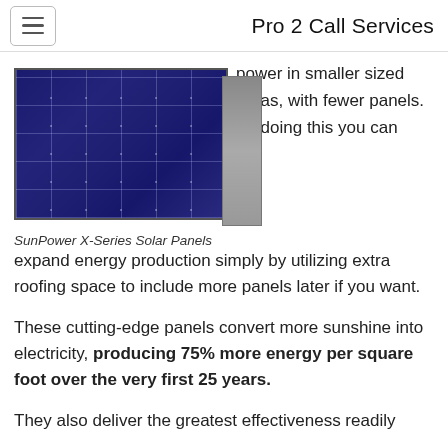Pro 2 Call Services
[Figure (photo): SunPower X-Series Solar Panels — dark blue photovoltaic panel with white grid lines and dot intersections, second panel visible at an angle behind it]
SunPower X-Series Solar Panels
power in smaller sized areas, with fewer panels. By doing this you can expand energy production simply by utilizing extra roofing space to include more panels later if you want.
These cutting-edge panels convert more sunshine into electricity, producing 75% more energy per square foot over the very first 25 years.
They also deliver the greatest effectiveness readily